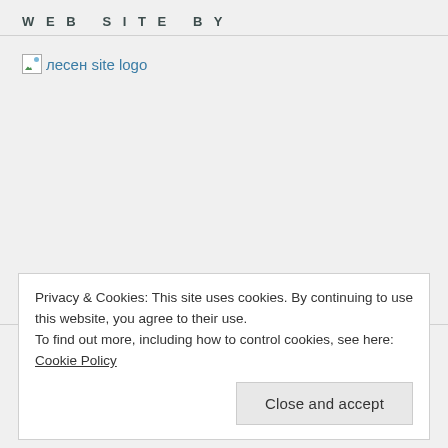WEB SITE BY
[Figure (logo): Broken image placeholder followed by text 'лесен site logo' as a link in teal color]
CATEGORIES
Privacy & Cookies: This site uses cookies. By continuing to use this website, you agree to their use.
To find out more, including how to control cookies, see here: Cookie Policy
Close and accept